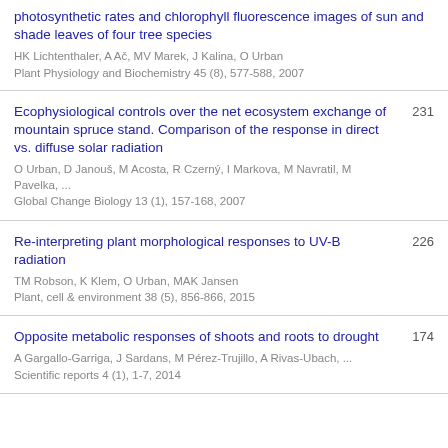photosynthetic rates and chlorophyll fluorescence images of sun and shade leaves of four tree species
HK Lichtenthaler, A Ač, MV Marek, J Kalina, O Urban
Plant Physiology and Biochemistry 45 (8), 577-588, 2007
Ecophysiological controls over the net ecosystem exchange of mountain spruce stand. Comparison of the response in direct vs. diffuse solar radiation
O Urban, D Janouš, M Acosta, R Czerný, I Markova, M Navratil, M Pavelka, ...
Global Change Biology 13 (1), 157-168, 2007
231
Re-interpreting plant morphological responses to UV-B radiation
TM Robson, K Klem, O Urban, MAK Jansen
Plant, cell & environment 38 (5), 856-866, 2015
226
Opposite metabolic responses of shoots and roots to drought
A Gargallo-Garriga, J Sardans, M Pérez-Trujillo, A Rivas-Ubach, ...
Scientific reports 4 (1), 1-7, 2014
174